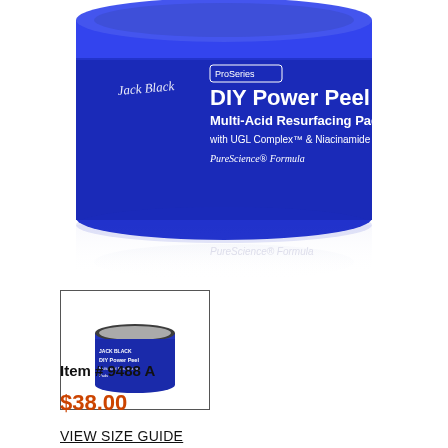[Figure (photo): Blue cylindrical jar of Jack Black ProSeries DIY Power Peel Multi-Acid Resurfacing Pads with UGL Complex and Niacinamide, PureScience Formula. The jar is dark royal blue with white text and branding. A reflection of the jar is visible below it on a white surface.]
[Figure (photo): Small thumbnail image of the same Jack Black DIY Power Peel jar product, shown with silver lid on top, inside a black-bordered rectangle.]
Item # 9488 A
$38.00
VIEW SIZE GUIDE